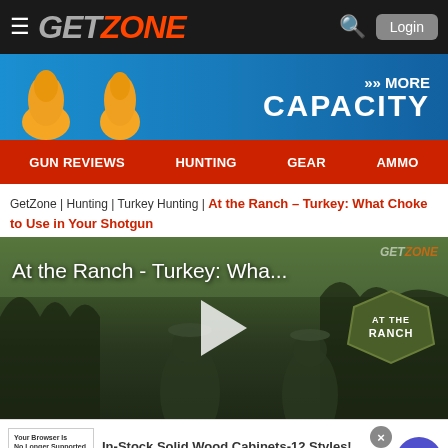GET ZONE — Login
[Figure (screenshot): Advertisement banner for MORE CAPACITY ammunition]
GUN REVIEWS | HUNTING | GEAR | AMMO
GetZone | Hunting | Turkey Hunting | At the Ranch – Turkey: What Choke to Use in Your Shotgun
[Figure (screenshot): Video thumbnail: At the Ranch - Turkey: Wha... with play button, AT THE RANCH badge, and GETZONE watermark]
[Figure (screenshot): Advertisement: In-Stock Solid Wood Cabinets-12 Styles! visit cliftondesignstudio.com/ to learn more. www.cliftondesignstudio.com]